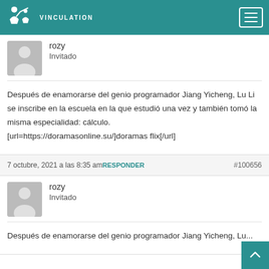UdlS Vinculation
rozy
Invitado
Después de enamorarse del genio programador Jiang Yicheng, Lu Li se inscribe en la escuela en la que estudió una vez y también tomó la misma especialidad: cálculo.
[url=https://doramasonline.su/]doramas flix[/url]
7 octubre, 2021 a las 8:35 am RESPONDER #100656
rozy
Invitado
Después de enamorarse del genio programador Jiang Yicheng, Lu...